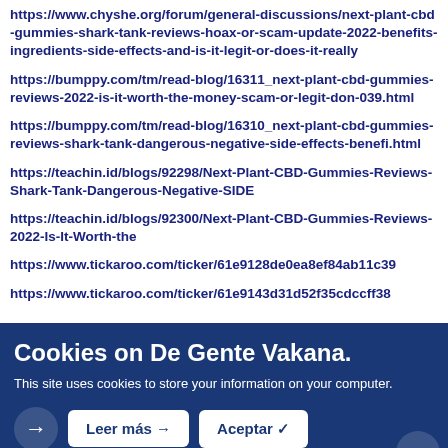https://www.chyshe.org/forum/general-discussions/next-plant-cbd-gummies-shark-tank-reviews-hoax-or-scam-update-2022-benefits-ingredients-side-effects-and-is-it-legit-or-does-it-really
https://bumppy.com/tm/read-blog/16311_next-plant-cbd-gummies-reviews-2022-is-it-worth-the-money-scam-or-legit-don-039.html
https://bumppy.com/tm/read-blog/16310_next-plant-cbd-gummies-reviews-shark-tank-dangerous-negative-side-effects-benefi.html
https://teachin.id/blogs/92298/Next-Plant-CBD-Gummies-Reviews-Shark-Tank-Dangerous-Negative-SIDE
https://teachin.id/blogs/92300/Next-Plant-CBD-Gummies-Reviews-2022-Is-It-Worth-the
https://www.tickaroo.com/ticker/61e9128de0ea8ef84ab11c39
https://www.tickaroo.com/ticker/61e9143d31d52f35cdccff38
Cookies on De Gente Vakana.
This site uses cookies to store your information on your computer.